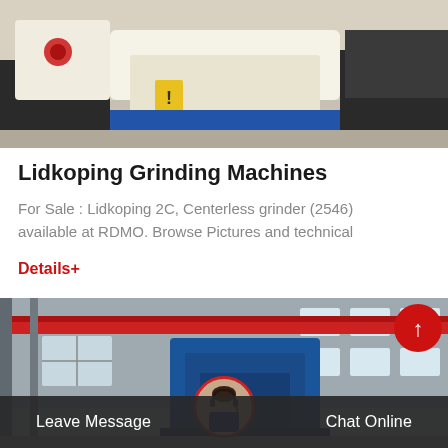[Figure (photo): Industrial grinding machine with white/cream housing on blue base, photographed in a factory/warehouse setting.]
Lidkoping Grinding Machines
For Sale : Lidkoping 2C, Centerless grinder (2546) available at RDMO. Browse Pictures and technical
Details+
[Figure (photo): Large industrial machine (blue) in a factory with overhead red crane rail, windows in background. Customer support representative avatar in circle overlay.]
Leave Message
Chat Online